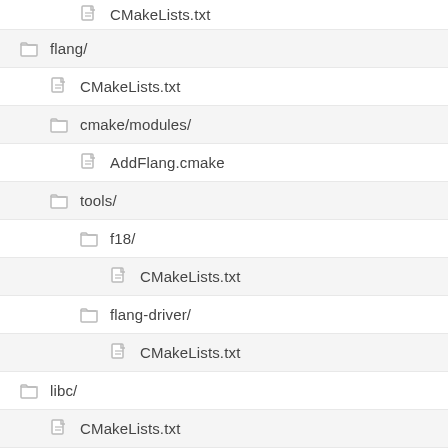CMakeLists.txt
flang/
CMakeLists.txt
cmake/modules/
AddFlang.cmake
tools/
f18/
CMakeLists.txt
flang-driver/
CMakeLists.txt
libc/
CMakeLists.txt
lib/
CMakeLists.txt
libcxx/
CMakeLists.txt
cmake/Modules/
HandleLibCXXABI.cmake
include/